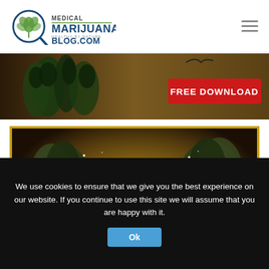[Figure (logo): Medical Marijuana Blog.com logo with cannabis leaf magnifying glass icon]
[Figure (photo): Advertisement banner with cannabis plants and red FREE DOWNLOAD button]
[Figure (photo): MSNL seedbank advertisement with cannabis flowers and text ORIGINAL SEEDBANK SINCE '99]
We use cookies to ensure that we give you the best experience on our website. If you continue to use this site we will assume that you are happy with it.